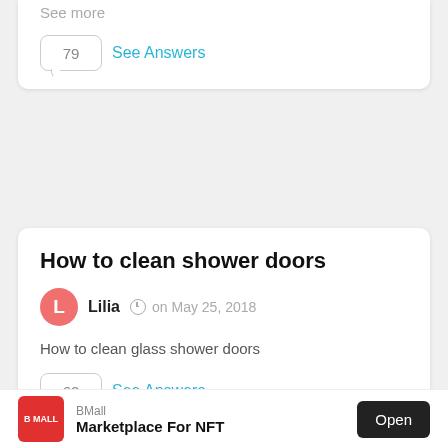See more
79  See Answers
How to clean shower doors
L  Lilia  on May 25, 2018
How to clean glass shower doors
62  See Answers
[Figure (other): BMall advertisement with red logo showing 'B MALL', text 'BMall' and 'Marketplace For NFT', and an 'Open' button]